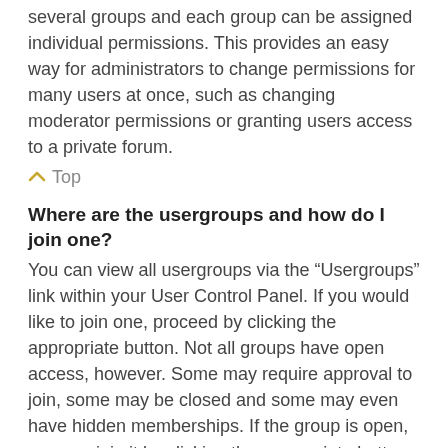several groups and each group can be assigned individual permissions. This provides an easy way for administrators to change permissions for many users at once, such as changing moderator permissions or granting users access to a private forum.
Top
Where are the usergroups and how do I join one?
You can view all usergroups via the “Usergroups” link within your User Control Panel. If you would like to join one, proceed by clicking the appropriate button. Not all groups have open access, however. Some may require approval to join, some may be closed and some may even have hidden memberships. If the group is open, you can join it by clicking the appropriate button. If a group requires approval to join you may request to join by clicking the appropriate button. The user group leader will need to approve your request and may ask why you want to join the group. Please do not harass a group leader if they reject your request; they will have their reasons.
Top
How do I become a usergroup leader?